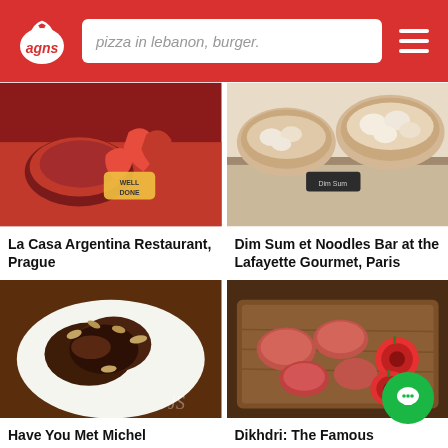agns — pizza in lebanon, burger.
[Figure (photo): Food photo: raw red meat and chili peppers on red surface with a 'Well Done' meat thermometer tag]
La Casa Argentina Restaurant, Prague
[Figure (photo): Food photo: steamed dumplings and buns in bamboo steamers at a dim sum restaurant]
Dim Sum et Noodles Bar at the Lafayette Gourmet, Paris
[Figure (photo): Food photo: chocolate-glazed pastry with nuts on a white plate]
Have You Met Michel
[Figure (photo): Food photo: raw meat cuts and sliced red peppers on a wooden cutting board]
Dikhdri: The Famous